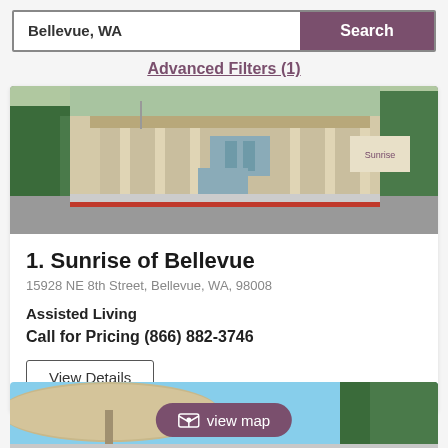Bellevue, WA
Search
Advanced Filters (1)
[Figure (photo): Exterior photo of Sunrise of Bellevue senior living facility with green landscaping and a parking area]
1. Sunrise of Bellevue
15928 NE 8th Street, Bellevue, WA, 98008
Assisted Living
Call for Pricing (866) 882-3746
View Details
[Figure (photo): Partial exterior photo of a second senior living facility with view map button overlay]